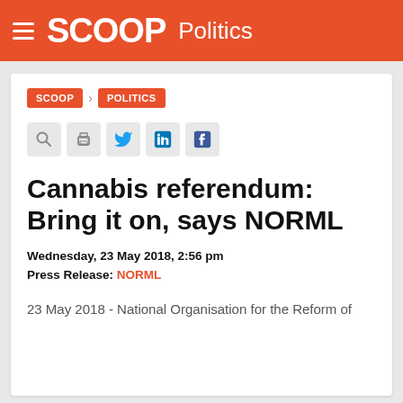SCOOP Politics
SCOOP > POLITICS
Cannabis referendum: Bring it on, says NORML
Wednesday, 23 May 2018, 2:56 pm
Press Release: NORML
23 May 2018 - National Organisation for the Reform of